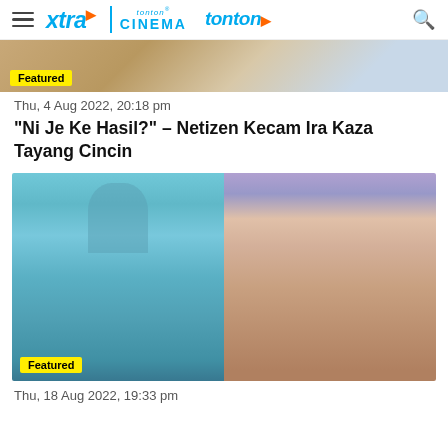xtra | tonton CINEMA | tonton
[Figure (photo): Partial photo of a person visible at the top of the page with a Featured badge overlay]
Thu, 4 Aug 2022, 20:18 pm
“Ni Je Ke Hasil?” – Netizen Kecam Ira Kaza Tayang Cincin
[Figure (photo): Composite photo showing two women wearing hijab side by side. Left: woman in teal/blue hijab and outfit. Right: woman in purple hijab with floral top. Featured badge overlay at bottom left.]
Thu, 18 Aug 2022, 19:33 pm